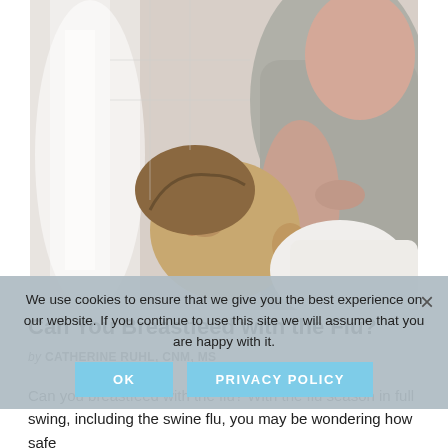[Figure (photo): A mother breastfeeding her baby. The baby is held in the mother's arms wrapped in a white cloth. The mother is wearing a grey top. Soft natural light in background.]
Can You Breastfeed with the Flu?
by CATHERINE RUHL, CNM, MS
Can you breastfeed with the flu? With the flu season in full swing, including the swine flu, you may be wondering how safe
We use cookies to ensure that we give you the best experience on our website. If you continue to use this site we will assume that you are happy with it.